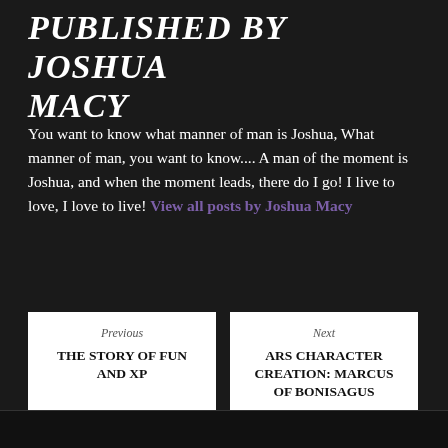PUBLISHED BY JOSHUA MACY
You want to know what manner of man is Joshua, What manner of man, you want to know.... A man of the moment is Joshua, and when the moment leads, there do I go! I live to love, I love to live! View all posts by Joshua Macy
Previous
THE STORY OF FUN AND XP
Next
ARS CHARACTER CREATION: MARCUS OF BONISAGUS